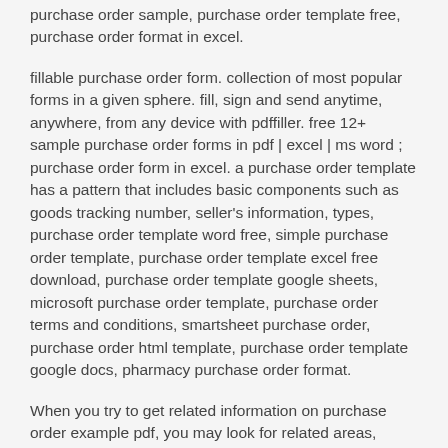purchase order sample, purchase order template free, purchase order format in excel.
fillable purchase order form. collection of most popular forms in a given sphere. fill, sign and send anytime, anywhere, from any device with pdffiller. free 12+ sample purchase order forms in pdf | excel | ms word ; purchase order form in excel. a purchase order template has a pattern that includes basic components such as goods tracking number, seller's information, types, purchase order template word free, simple purchase order template, purchase order template excel free download, purchase order template google sheets, microsoft purchase order template, purchase order terms and conditions, smartsheet purchase order, purchase order html template, purchase order template google docs, pharmacy purchase order format.
When you try to get related information on purchase order example pdf, you may look for related areas, purchase order format in word...